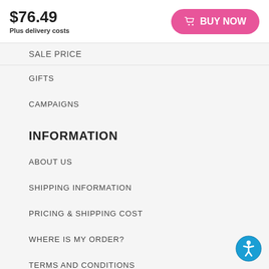$76.49
Plus delivery costs
[Figure (other): Pink BUY NOW button with cart icon]
SALE PRICE
GIFTS
CAMPAIGNS
INFORMATION
ABOUT US
SHIPPING INFORMATION
PRICING & SHIPPING COST
WHERE IS MY ORDER?
TERMS AND CONDITIONS
INTELLECTUAL PROPERTY
[Figure (other): Blue accessibility icon button in bottom right corner]